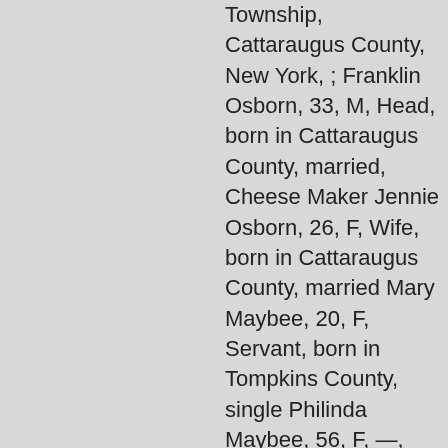Township, Cattaraugus County, New York, ; Franklin Osborn, 33, M, Head, born in Cattaraugus County, married, Cheese Maker Jennie Osborn, 26, F, Wife, born in Cattaraugus County, married Mary Maybee, 20, F, Servant, born in Tompkins County, single Philinda Maybee, 56, F, —, born in Tompkins County, widowed William Maybee, 16, M, Son, born in Tompkins County, single, Farm Labor John Maybee, 13, M, Son, born in Tompkins County, single George Maybee, 7, M, Son, born in Tompkins